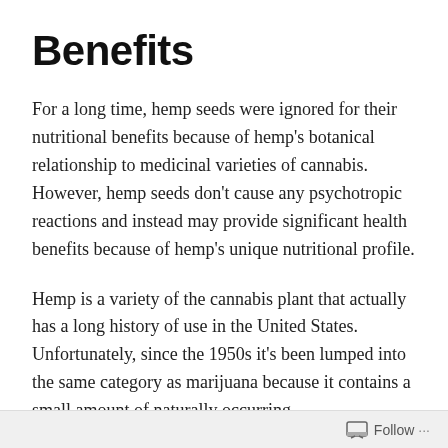Benefits
For a long time, hemp seeds were ignored for their nutritional benefits because of hemp's botanical relationship to medicinal varieties of cannabis. However, hemp seeds don't cause any psychotropic reactions and instead may provide significant health benefits because of hemp's unique nutritional profile.
Hemp is a variety of the cannabis plant that actually has a long history of use in the United States. Unfortunately, since the 1950s it's been lumped into the same category as marijuana because it contains a small amount of naturally occurring
Follow ...